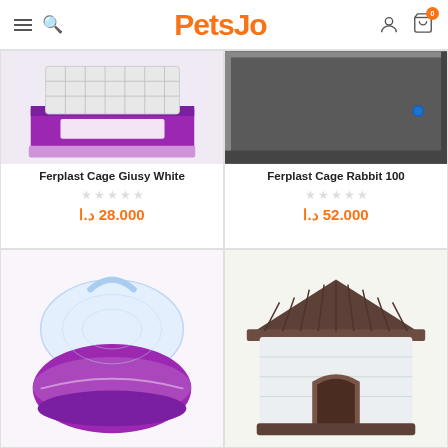PetsJo
[Figure (photo): Ferplast Cage Giusy White - purple and white small animal cage with wire top, partially visible (cropped at top)]
Ferplast Cage Giusy White
28.000 د.ا
[Figure (photo): Ferplast Cage Rabbit 100 - dark gray large rabbit cage, partially visible (cropped at top)]
Ferplast Cage Rabbit 100
52.000 د.ا
[Figure (photo): Purple small animal carrier/habitat with clear dome lid and handle]
[Figure (photo): Plastic dog kennel/house with brown striped roof and beige/gray walls]